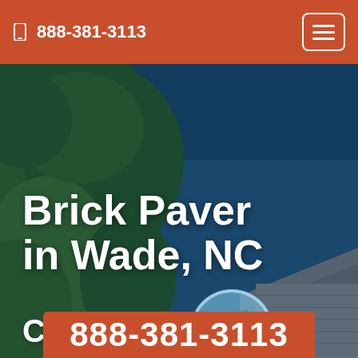888-381-3113
[Figure (photo): Outdoor background photo showing green trees against a blue sky with a house roof visible in the lower right corner, with a dark blue overlay.]
Brick Paver in Wade, NC
Call Now:
888-381-3113